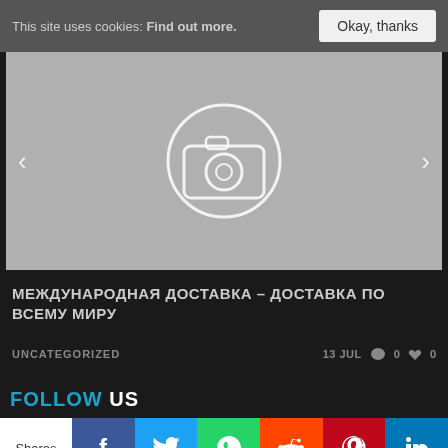This site uses cookies: Find out more. Okay, thanks
[Figure (screenshot): Image slider placeholder with camera icon and left/right navigation arrows on grey background]
МЕЖДУНАРОДНАЯ ДОСТАВКА – ДОСТАВКА ПО ВСЕМУ МИРУ
UNCATEGORIZED   13 JUL   0   0
FOLLOW US
[Figure (infographic): Social media share bar with Shares, Facebook, Twitter, WhatsApp, Reddit, Pinterest, LinkedIn icons]